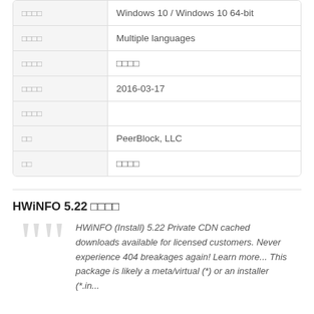| □□□□ | Windows 10 / Windows 10 64-bit |
| □□□□ | Multiple languages |
| □□□□ | □□□□ |
| □□□□ | 2016-03-17 |
| □□□□ |  |
| □□ | PeerBlock, LLC |
| □□ | □□□□ |
HWiNFO 5.22 □□□□
HWiNFO (Install) 5.22 Private CDN cached downloads available for licensed customers. Never experience 404 breakages again! Learn more... This package is likely a meta/virtual (*) or an installer (*.in...